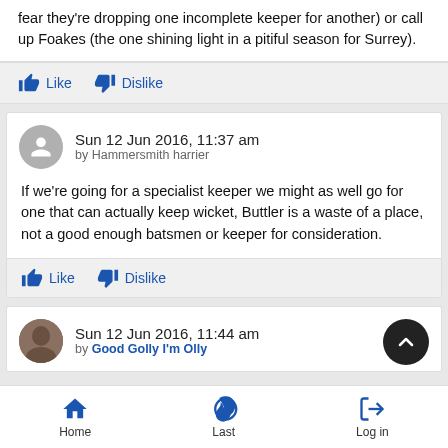fear they're dropping one incomplete keeper for another) or call up Foakes (the one shining light in a pitiful season for Surrey).
Like  Dislike
Sun 12 Jun 2016, 11:37 am by Hammersmith harrier
If we're going for a specialist keeper we might as well go for one that can actually keep wicket, Buttler is a waste of a place, not a good enough batsmen or keeper for consideration.
Like  Dislike
Sun 12 Jun 2016, 11:44 am by Good Golly I'm Olly
Home  Last  Log in